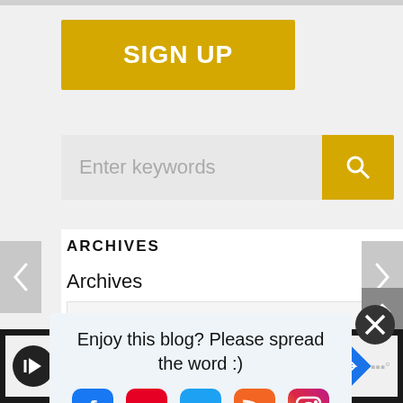[Figure (screenshot): SIGN UP button in yellow/gold color]
[Figure (screenshot): Search bar with 'Enter keywords' placeholder and yellow search icon]
ARCHIVES
Archives
Select Month
[Figure (screenshot): Pop-up overlay with text 'Enjoy this blog? Please spread the word :)' and social media icons: Facebook, Pinterest, Twitter, RSS, Instagram. Close button (X) in top right.]
[Figure (screenshot): Bottom advertisement bar with logo, checkmark, 'In-store shopping', navigation icon, and 'Save Up to 65%' text. Weather icon on right.]